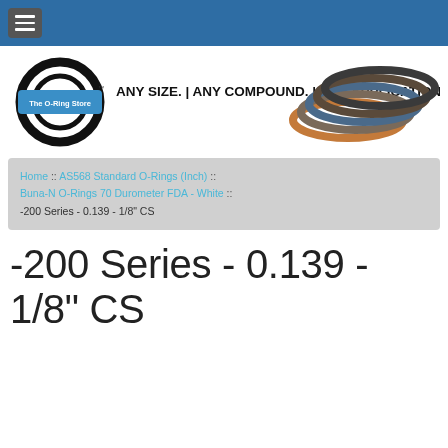Navigation bar with hamburger menu
[Figure (logo): The O-Ring Store logo with o-ring image and tagline: ANY SIZE. | ANY COMPOUND. | ANY APPLICATION. | MADE EASY.]
Home :: AS568 Standard O-Rings (Inch) :: Buna-N O-Rings 70 Durometer FDA - White :: -200 Series - 0.139 - 1/8" CS
-200 Series - 0.139 - 1/8" CS